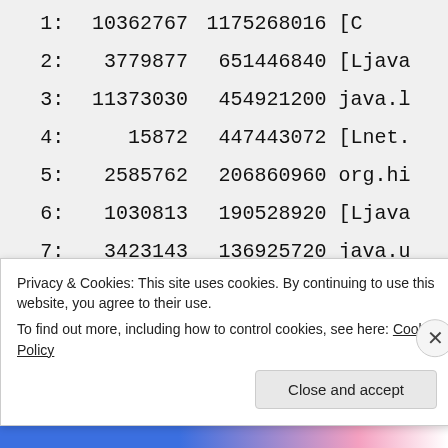| # | count | bytes | class |
| --- | --- | --- | --- |
| 1: | 10362767 | 1175268016 | [C |
| 2: | 3779877 | 651446840 | [Ljava |
| 3: | 11373030 | 454921200 | java.l |
| 4: | 15872 | 447443072 | [Lnet. |
| 5: | 2585762 | 206860960 | org.hi |
| 6: | 1030813 | 190528920 | [Ljava |
| 7: | 3423143 | 136925720 | java.u |
| 8: | 1741450 | 83589600 | java.u |
| 9: | 46832 | 76055168 | [Lorg. |
| 10: | 1147644 | 73449216 | com.te |
Privacy & Cookies: This site uses cookies. By continuing to use this website, you agree to their use. To find out more, including how to control cookies, see here: Cookie Policy